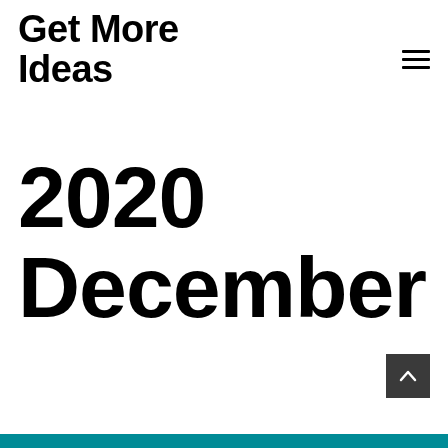Get More Ideas
[Figure (other): Hamburger menu icon (three horizontal lines) in the top right corner]
2020 December
[Figure (other): Scroll-to-top button with upward chevron arrow, dark gray background, bottom right corner]
[Figure (other): Teal/dark cyan horizontal bar at the very bottom of the page]